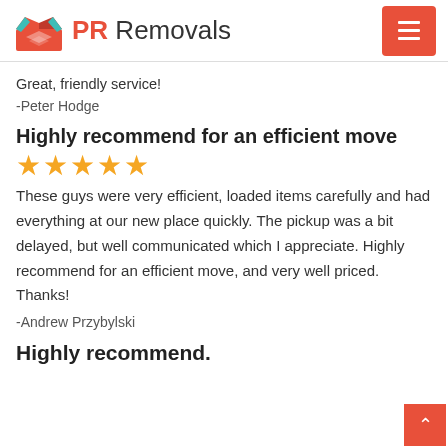PR Removals
Great, friendly service!
-Peter Hodge
Highly recommend for an efficient move
★★★★★
These guys were very efficient, loaded items carefully and had everything at our new place quickly. The pickup was a bit delayed, but well communicated which I appreciate. Highly recommend for an efficient move, and very well priced. Thanks!
-Andrew Przybylski
Highly recommend.